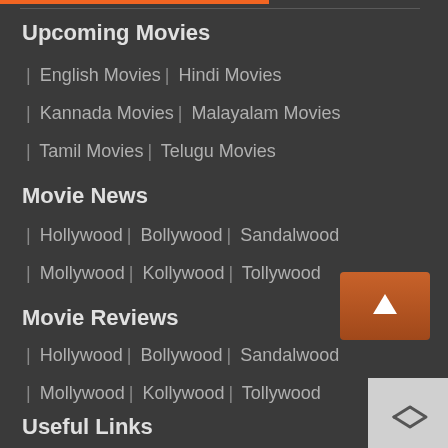Upcoming Movies
| English Movies | Hindi Movies
| Kannada Movies | Malayalam Movies
| Tamil Movies | Telugu Movies
Movie News
| Hollywood | Bollywood | Sandalwood
| Mollywood | Kollywood | Tollywood
Movie Reviews
| Hollywood | Bollywood | Sandalwood
| Mollywood | Kollywood | Tollywood
Useful Links
[Figure (illustration): Scroll-to-top orange button with upward arrow]
[Figure (illustration): Share icon (arrow) in light gray box]